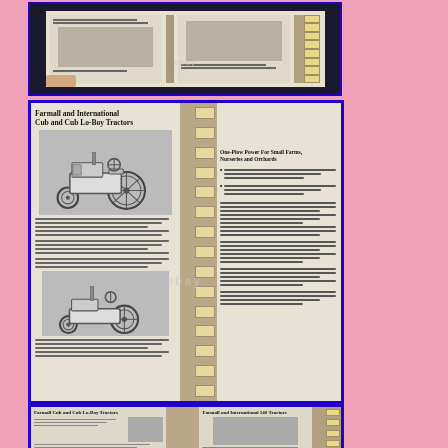[Figure (photo): Top photograph showing an open agricultural equipment manual/catalog with tractor images visible, book held open by hand, with tabbed dividers visible on the right side. eBay watermark visible.]
[Figure (photo): Middle photograph showing an open agricultural equipment catalog page titled 'Farmall and International Cub and Cub Lo-Boy Tractors' with illustrations of two tractor models and descriptive text including section 'One-Plow Power For Small Farms, Nurseries and Orchards'. Tabbed index dividers visible on the right side of the book. eBay watermark visible.]
Farmall and International Cub and Cub Lo-Boy Tractors
One-Plow Power For Small Farms, Nurseries and Orchards
[Figure (photo): Bottom photograph showing another open page of the same agricultural catalog, left page appears to show 'Farmall Cub and Cub Lo-Boy Tractors' content with a photograph of a tractor in use, right page shows 'Farmall and International 140 Tractors' heading with a tractor illustration. Tabbed dividers visible on the right.]
Farmall and International 140 Tractors